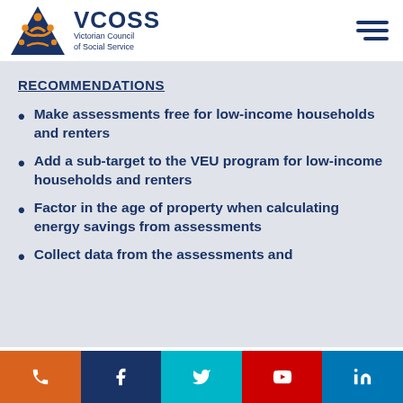[Figure (logo): VCOSS Victorian Council of Social Service logo with orange/gold triangle and people figures, with hamburger menu icon on the right]
RECOMMENDATIONS
Make assessments free for low-income households and renters
Add a sub-target to the VEU program for low-income households and renters
Factor in the age of property when calculating energy savings from assessments
Collect data from the assessments and
Social media links: phone, Facebook, Twitter, YouTube, LinkedIn